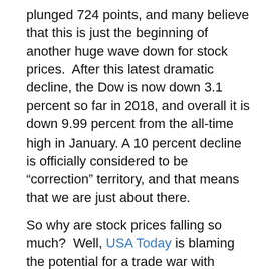plunged 724 points, and many believe that this is just the beginning of another huge wave down for stock prices.  After this latest dramatic decline, the Dow is now down 3.1 percent so far in 2018, and overall it is down 9.99 percent from the all-time high in January. A 10 percent decline is officially considered to be “correction” territory, and that means that we are just about there.
So why are stock prices falling so much?  Well, USA Today is blaming the potential for a trade war with China, the latest Facebook scandal and “the impact of rising interest rates on the economy”...
U.S. stocks sold off sharply